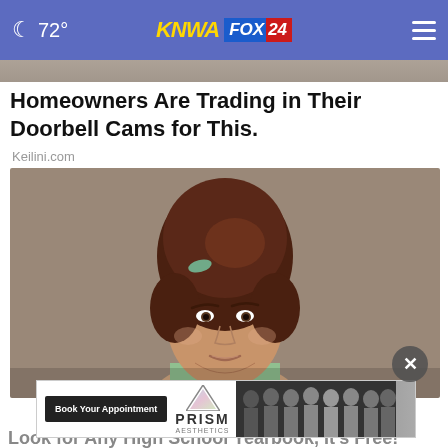🌙 72° KNWA FOX 24
Homeowners Are Trading in Their Doorbell Cams for This.
Keilini.com
[Figure (photo): Portrait photo of a woman with a tall bouffant hairstyle and a green hair accessory, wearing a light green top, vintage style photograph]
[Figure (photo): PRISM advertisement banner with Book Your Appointment button and group photo of women]
Look for Any High School Yearbook, It's Free!